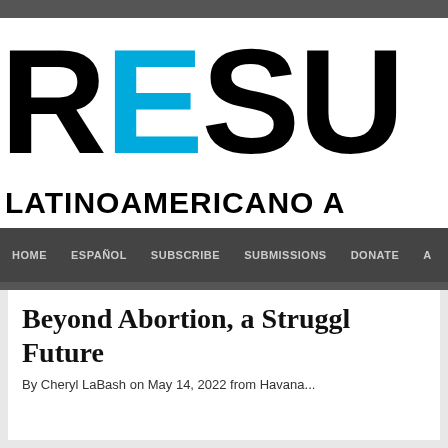[Figure (logo): RESU... LATINOAMERICANO A... website logo with cyan colored 'E' letter]
HOME  ESPAÑOL  SUBSCRIBE  SUBMISSIONS  DONATE  A
Beyond Abortion, a Struggle... Future
By Cheryl LaBash on May 14, 2022 from Havana...